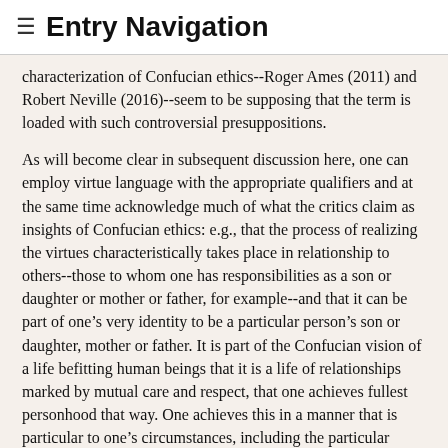≡ Entry Navigation
characterization of Confucian ethics--Roger Ames (2011) and Robert Neville (2016)--seem to be supposing that the term is loaded with such controversial presuppositions.
As will become clear in subsequent discussion here, one can employ virtue language with the appropriate qualifiers and at the same time acknowledge much of what the critics claim as insights of Confucian ethics: e.g., that the process of realizing the virtues characteristically takes place in relationship to others--those to whom one has responsibilities as a son or daughter or mother or father, for example--and that it can be part of one's very identity to be a particular person's son or daughter, mother or father. It is part of the Confucian vision of a life befitting human beings that it is a life of relationships marked by mutual care and respect, that one achieves fullest personhood that way. One achieves this in a manner that is particular to one's circumstances, including the particular others with whom one most interacts. None of this is inconsistent with virtue characterizations in the broad sense (for an alternative role-ethic characterization